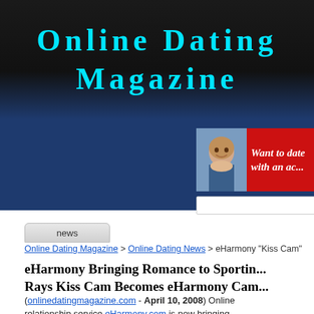Online Dating Magazine
[Figure (advertisement): Partial ad banner with a man's face photo on red background reading 'Want to date with an ac...']
news
Online Dating Magazine > Online Dating News > eHarmony "Kiss Cam"
eHarmony Bringing Romance to Sportin... Rays Kiss Cam Becomes eHarmony Cam...
(onlinedatingmagazine.com - April 10, 2008) Online relationship service eHarmony.com is now bringing